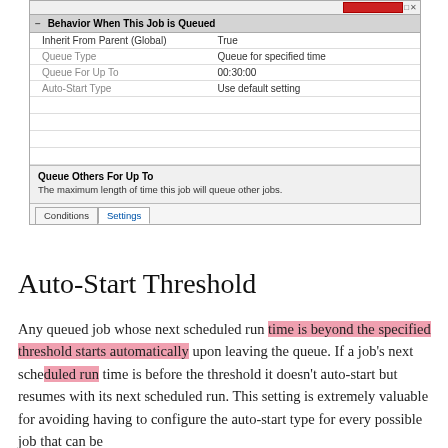[Figure (screenshot): UI screenshot of a job scheduling settings panel showing 'Behavior When This Job is Queued' section with rows: Inherit From Parent (Global)=True, Queue Type=Queue for specified time, Queue For Up To=00:30:00, Auto-Start Type=Use default setting. Below is an info box for 'Queue Others For Up To' with description text. At bottom are Conditions and Settings tabs.]
Auto-Start Threshold
Any queued job whose next scheduled run time is beyond the specified threshold starts automatically upon leaving the queue. If a job's next scheduled run time is before the threshold it doesn't auto-start but resumes with its next scheduled run. This setting is extremely valuable for avoiding having to configure the auto-start type for every possible job that can be